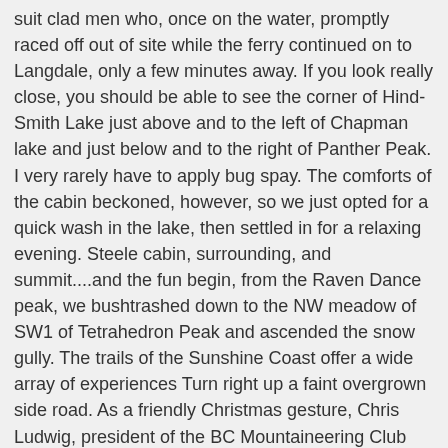suit clad men who, once on the water, promptly raced off out of site while the ferry continued on to Langdale, only a few minutes away. If you look really close, you should be able to see the corner of Hind-Smith Lake just above and to the left of Chapman lake and just below and to the right of Panther Peak. I very rarely have to apply bug spay. The comforts of the cabin beckoned, however, so we just opted for a quick wash in the lake, then settled in for a relaxing evening. Steele cabin, surrounding, and summit....and the fun begin, from the Raven Dance peak, we bushtrashed down to the NW meadow of SW1 of Tetrahedron Peak and ascended the snow gully. The trails of the Sunshine Coast offer a wide array of experiences Turn right up a faint overgrown side road. As a friendly Christmas gesture, Chris Ludwig, president of the BC Mountaineering Club (BCMC) and co-founder of Backcountry BC, presented the Fed with a copy of a 1,500+ page Freedom of Information document related to the Tetrahedron Provincial Park public process—such as it was. Tetrahedron Provincial Park is a provincial park in British Columbia, Canada, located northeast of